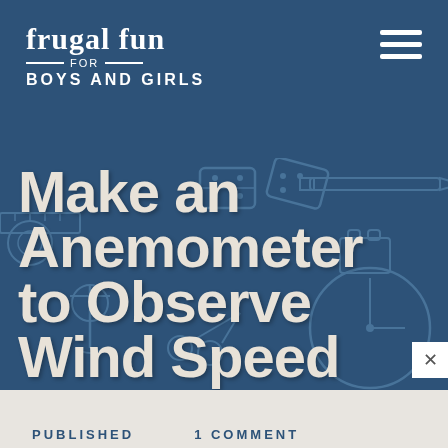frugal fun FOR BOYS AND GIRLS
Make an Anemometer to Observe Wind Speed
PUBLISHED   1 COMMENT